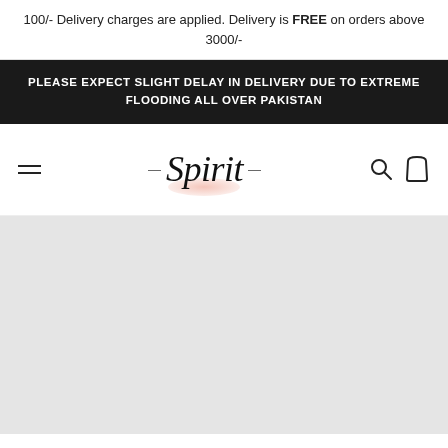100/- Delivery charges are applied. Delivery is FREE on orders above 3000/-
PLEASE EXPECT SLIGHT DELAY IN DELIVERY DUE TO EXTREME FLOODING ALL OVER PAKISTAN
[Figure (logo): Spirit brand logo with script font, arrows on each side, and pink watercolor brush stroke underneath]
[Figure (infographic): Light grey content area / loading placeholder below the navigation bar]